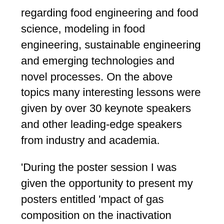regarding food engineering and food science, modeling in food engineering, sustainable engineering and emerging technologies and novel processes. On the above topics many interesting lessons were given by over 30 keynote speakers and other leading-edge speakers from industry and academia.
'During the poster session I was given the opportunity to present my posters entitled 'mpact of gas composition on the inactivation mechanisms of Bacillus subtilis spores on structured surfaces during cold atmospheric pressure plasma treatment' and 'Inactivation mechanisms of Bacillus subtilis spores in aqueous solution related to remote plasma treatment'. My research received great interest of many attendees. Furthermore, it was a good